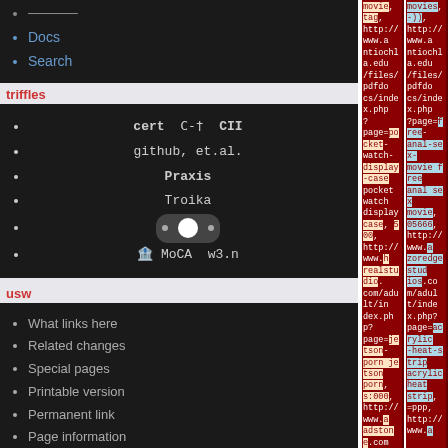Docs
Search
triffles
cert  C-†  CII
github, et.al.
Praxis
Troika
[toggle widget]
🏦 MoCA  w3.n
usw
What links here
Related changes
Special pages
Printable version
Permanent link
Page information
[Figure (screenshot): Two columns of spam/SEO URLs on dark red background with peach and blue highlighted keyword overlays. Left column contains text about movies, http://www.antiochla.edu/files/pdfdocs/index.php?page=pocket-watch-display-case pocket watch display case, http://www.hrealstudio.com/adult/index.php?page=jetson-porn jetson porn. Right column contains similar spam URLs with free anal sex movie, http://www.azoredgestudios.com/adult/index.php?page=acrylic-heat-strip acrylic heat strip.]